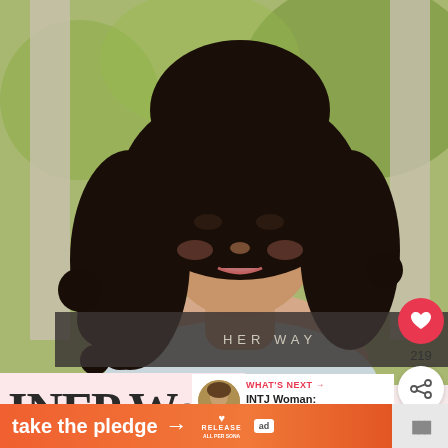[Figure (photo): Portrait of a young woman with long curly dark hair wearing a light blue top, standing against a background with greenery and light-colored pillars. Outdoor setting with natural light.]
HER WAY
219
WHAT'S NEXT → INTJ Woman: 10 Traits an...
INFP Women: 10
take the pledge →